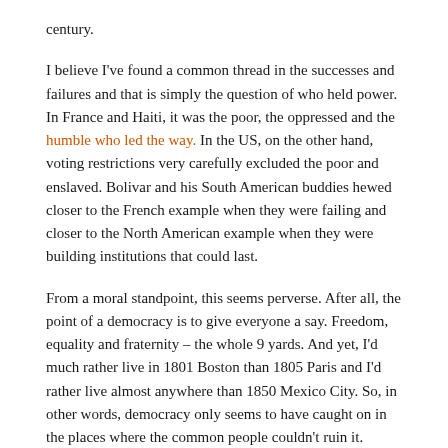century.
I believe I've found a common thread in the successes and failures and that is simply the question of who held power. In France and Haiti, it was the poor, the oppressed and the humble who led the way. In the US, on the other hand, voting restrictions very carefully excluded the poor and enslaved. Bolivar and his South American buddies hewed closer to the French example when they were failing and closer to the North American example when they were building institutions that could last.
From a moral standpoint, this seems perverse. After all, the point of a democracy is to give everyone a say. Freedom, equality and fraternity – the whole 9 yards. And yet, I'd much rather live in 1801 Boston than 1805 Paris and I'd rather live almost anywhere than 1850 Mexico City. So, in other words, democracy only seems to have caught on in the places where the common people couldn't ruin it.
This got me thinking about the nature of minority groups and the nature of mainstream groups. What makes you a minority? What